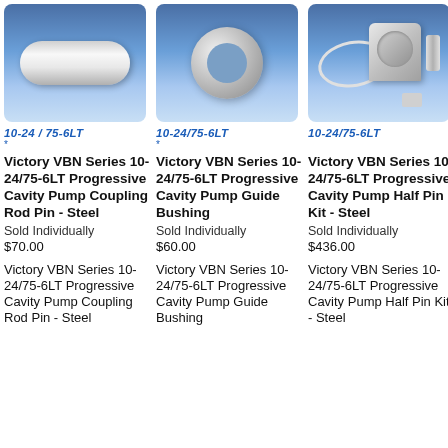[Figure (photo): Photo of Victory VBN Series 10-24/75-6LT Progressive Cavity Pump Coupling Rod Pin - Steel, cylindrical metal pin]
[Figure (photo): Photo of Victory VBN Series 10-24/75-6LT Progressive Cavity Pump Guide Bushing, annular ring/bushing]
[Figure (photo): Photo of Victory VBN Series 10-24/75-6LT Progressive Cavity Pump Half Pin Kit - Steel, kit with main body, wire, and small components]
10-24 / 75-6LT *
10-24/75-6LT *
10-24/75-6LT
Victory VBN Series 10-24/75-6LT Progressive Cavity Pump Coupling Rod Pin - Steel
Sold Individually
$70.00
Victory VBN Series 10-24/75-6LT Progressive Cavity Pump Coupling Rod Pin - Steel
Victory VBN Series 10-24/75-6LT Progressive Cavity Pump Guide Bushing
Sold Individually
$60.00
Victory VBN Series 10-24/75-6LT Progressive Cavity Pump Guide Bushing
Victory VBN Series 10-24/75-6LT Progressive Cavity Pump Half Pin Kit - Steel
Sold Individually
$436.00
Victory VBN Series 10-24/75-6LT Progressive Cavity Pump Half Pin Kit - Steel